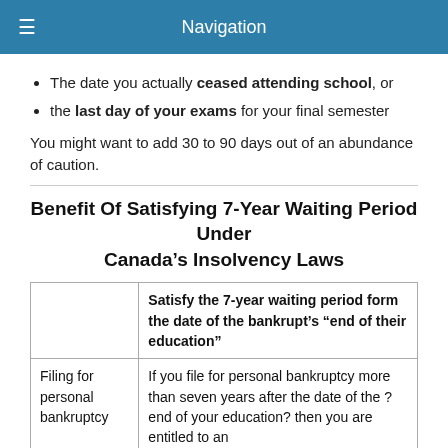Navigation
The date you actually ceased attending school, or
the last day of your exams for your final semester
You might want to add 30 to 90 days out of an abundance of caution.
Benefit Of Satisfying 7-Year Waiting Period Under Canada’s Insolvency Laws
|  | Satisfy the 7-year waiting period form the date of the bankrupt’s “end of their education” |
| --- | --- |
| Filing for personal bankruptcy | If you file for personal bankruptcy more than seven years after the date of the ?end of your education? then you are entitled to an |